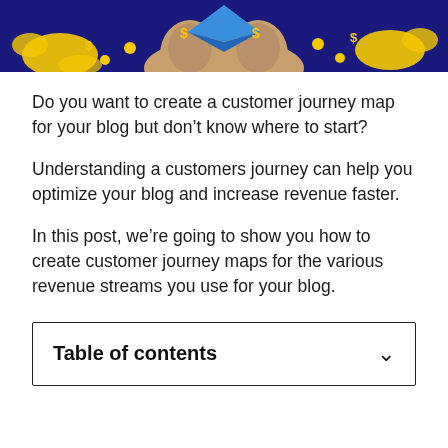[Figure (illustration): Illustrated banner with dark navy background showing hands holding money bags with gold coins and dollar signs, and a blue envelope/paper icon]
Do you want to create a customer journey map for your blog but don’t know where to start?
Understanding a customers journey can help you optimize your blog and increase revenue faster.
In this post, we’re going to show you how to create customer journey maps for the various revenue streams you use for your blog.
Table of contents